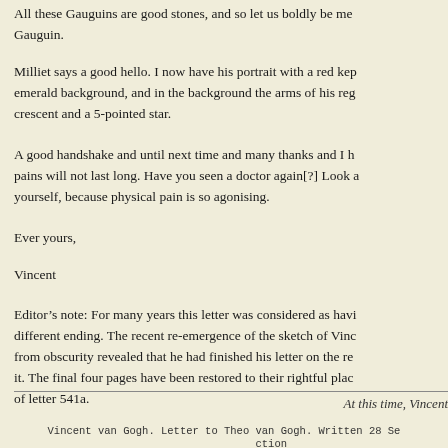All these Gauguins are good stones, and so let us boldly be me... Gauguin.
Milliet says a good hello. I now have his portrait with a red kep... emerald background, and in the background the arms of his reg... crescent and a 5-pointed star.
A good handshake and until next time and many thanks and I h... pains will not last long. Have you seen a doctor again[?] Look a... yourself, because physical pain is so agonising.
Ever yours,
Vincent
Editor’s note: For many years this letter was considered as havi... different ending. The recent re-emergence of the sketch of Vinc... from obscurity revealed that he had finished his letter on the re... it. The final four pages have been restored to their rightful plac... of letter 541a.
At this time, Vincent
Vincent van Gogh. Letter to Theo van Gogh. Written 28 Se...